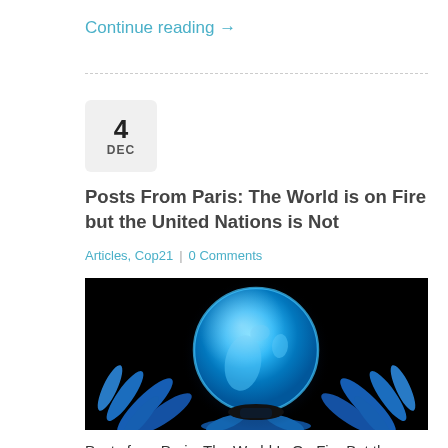Continue reading →
[Figure (other): Glowing blue Earth globe sitting on blue gas flames against a black background]
Posts From Paris: The World is on Fire but the United Nations is Not
Articles, Cop21 | 0 Comments
Posts from Paris: The World Is On Fire But the United Nations Is Not Post from Paris–Daily Commentaries for